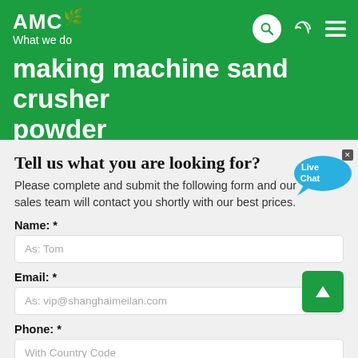AMC — What we do
making machine sand crusher powder
Tell us what you are looking for?
Please complete and submit the following form and our sales team will contact you shortly with our best prices.
Name: *
As: Tom
Email: *
As: vip@shanghaimeilan.com
Phone: *
With Country Code